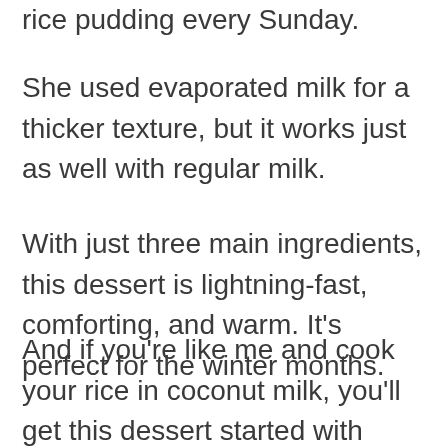rice pudding every Sunday.
She used evaporated milk for a thicker texture, but it works just as well with regular milk.
With just three main ingredients, this dessert is lightning-fast, comforting, and warm. It’s perfect for the winter months.
And if you’re like me and cook your rice in coconut milk, you’ll get this dessert started with some great flavor.